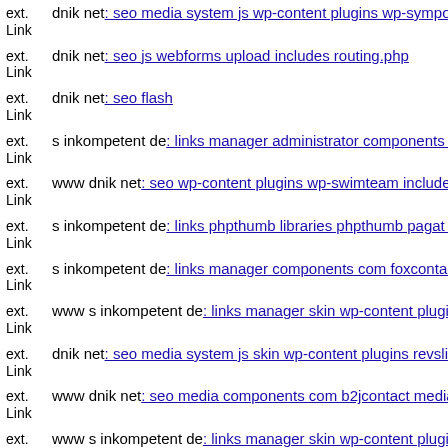ext. Link dnik net: seo media system js wp-content plugins wp-symposiu
ext. Link dnik net: seo js webforms upload includes routing.php
ext. Link dnik net: seo flash
ext. Link s inkompetent de: links manager administrator components com
ext. Link www dnik net: seo wp-content plugins wp-swimteam include u
ext. Link s inkompetent de: links phpthumb libraries phpthumb pagat ph
ext. Link s inkompetent de: links manager components com foxcontact v
ext. Link www s inkompetent de: links manager skin wp-content plugins
ext. Link dnik net: seo media system js skin wp-content plugins revslider
ext. Link www dnik net: seo media components com b2jcontact media c
ext. Link www s inkompetent de: links manager skin wp-content plugins